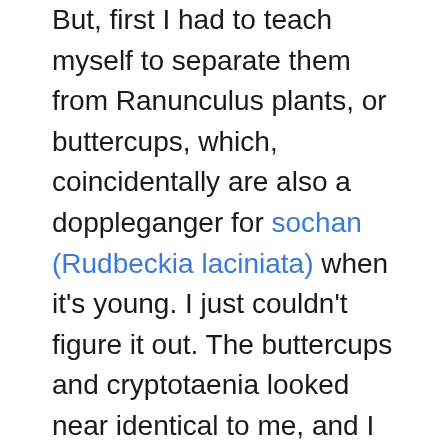But, first I had to teach myself to separate them from Ranunculus plants, or buttercups, which, coincidentally are also a doppleganger for sochan (Rudbeckia laciniata) when it's young. I just couldn't figure it out. The buttercups and cryptotaenia looked near identical to me, and I felt like my I.D. track record with them was about 50/50-a failing grade. Even so, don't freak out about buttercups, if you mis-identify and eat some, you may not even notice, it's probably just not good to eat lots of them repeatedly in large quantities.